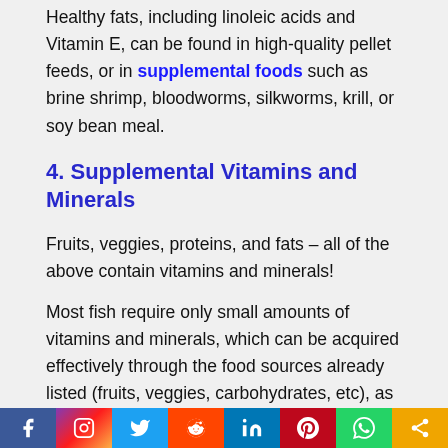Healthy fats, including linoleic acids and Vitamin E, can be found in high-quality pellet feeds, or in supplemental foods such as brine shrimp, bloodworms, silkworms, krill, or soy bean meal.
4. Supplemental Vitamins and Minerals
Fruits, veggies, proteins, and fats – all of the above contain vitamins and minerals!
Most fish require only small amounts of vitamins and minerals, which can be acquired effectively through the food sources already listed (fruits, veggies, carbohydrates, etc), as well as directly from the water itself by means of osmotic diffusion. Notwithstanding,
[Figure (infographic): Social media sharing bar with icons for Facebook, Instagram, Twitter, Reddit, LinkedIn, Pinterest, WhatsApp, and a share button]